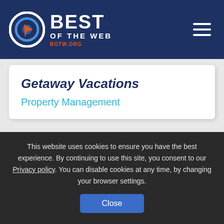[Figure (logo): Best of the Web logo with target/cursor icon and BOTW.ORG text, white on dark navy background with hamburger menu icon on the right]
Getaway Vacations
Property Management
New Listing
This website uses cookies to ensure you have the best experience. By continuing to use this site, you consent to our Privacy policy. You can disable cookies at any time, by changing your browser settings.